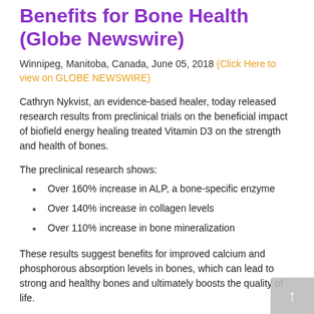Benefits for Bone Health (Globe Newswire)
Winnipeg, Manitoba, Canada, June 05, 2018 (Click Here to view on GLOBE NEWSWIRE)
Cathryn Nykvist, an evidence-based healer, today released research results from preclinical trials on the beneficial impact of biofield energy healing treated Vitamin D3 on the strength and health of bones.
The preclinical research shows:
Over 160% increase in ALP, a bone-specific enzyme
Over 140% increase in collagen levels
Over 110% increase in bone mineralization
These results suggest benefits for improved calcium and phosphorous absorption levels in bones, which can lead to strong and healthy bones and ultimately boosts the quality of life.
This energy medicine treatment may have the potential to provide beneficial effects on anti-inflammatory, anti-aging, anti-osteoporotic, lithogenic, anti-osteoporotic,